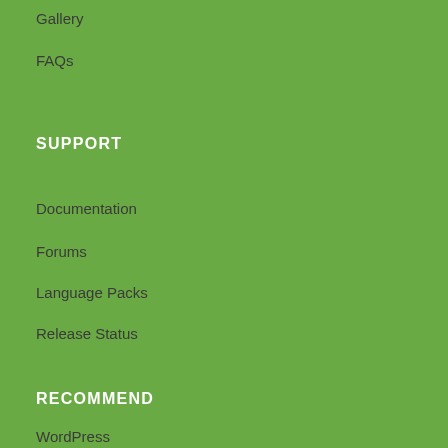Gallery
FAQs
SUPPORT
Documentation
Forums
Language Packs
Release Status
RECOMMEND
WordPress